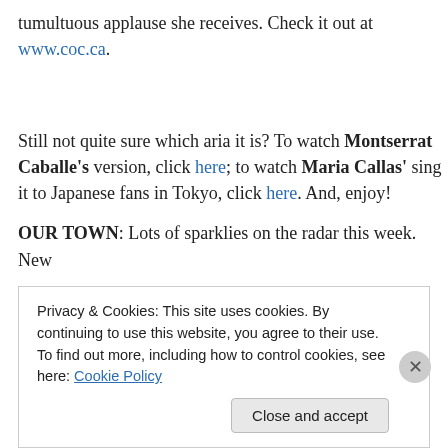tumultuous applause she receives. Check it out at www.coc.ca.
Still not quite sure which aria it is? To watch Montserrat Caballe's version, click here; to watch Maria Callas' sing it to Japanese fans in Tokyo, click here. And, enjoy!
OUR TOWN: Lots of sparklies on the radar this week. New
Privacy & Cookies: This site uses cookies. By continuing to use this website, you agree to their use.
To find out more, including how to control cookies, see here: Cookie Policy
Close and accept